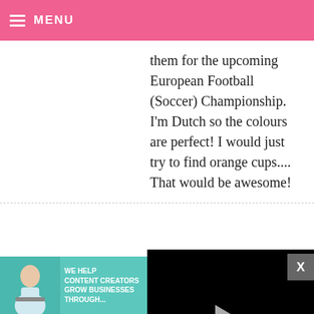MENU
them for the upcoming European Football (Soccer) Championship. I'm Dutch so the colours are perfect! I would just try to find orange cups.... That would be awesome!
REMY — M...
SO cute! S... creative, ... sharing :)
[Figure (screenshot): Video player overlay with play button, progress bar at ~82%, timestamp 13:52, and controls including mute, CC, grid, settings, and fullscreen buttons. Close button (X) in gray.]
[Figure (infographic): Advertisement banner: 'WE HELP CONTENT CREATORS GROW BUSINESSES THROUGH...' with SHE Media Partner Network logo and a LEARN MORE button in red.]